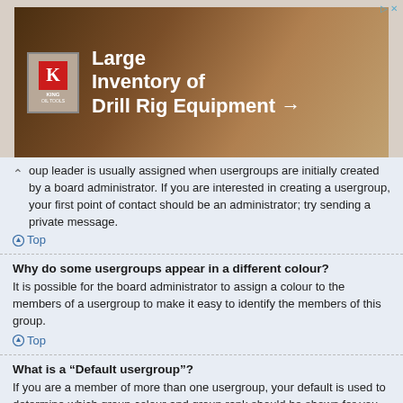[Figure (other): Advertisement banner for King Oil Tools showing 'Large Inventory of Drill Rig Equipment →' with red K logo on brown/tan background with drill equipment imagery]
oup leader is usually assigned when usergroups are initially created by a board administrator. If you are interested in creating a usergroup, your first point of contact should be an administrator; try sending a private message.
Top
Why do some usergroups appear in a different colour?
It is possible for the board administrator to assign a colour to the members of a usergroup to make it easy to identify the members of this group.
Top
What is a “Default usergroup”?
If you are a member of more than one usergroup, your default is used to determine which group colour and group rank should be shown for you by default. The board administrator may grant you permission to change your default usergroup via your User Control Panel.
Top
What is “The team” link?
This page provides you with a list of board staff, including board administrators and moderators and other details such as the forums they moderate.